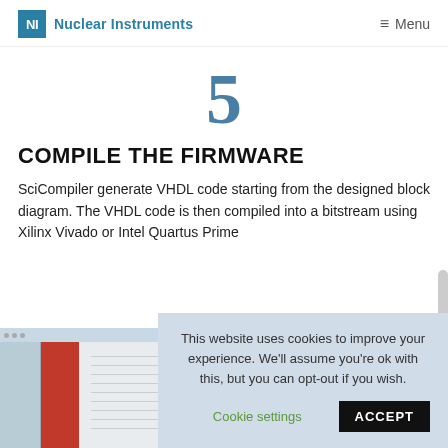NI Nuclear Instruments | Menu
5
COMPILE THE FIRMWARE
SciCompiler generate VHDL code starting from the designed block diagram. The VHDL code is then compiled into a bitstream using Xilinx Vivado or Intel Quartus Prime
[Figure (screenshot): Screenshot of SciCompiler or Xilinx Vivado software showing a block diagram with red element and grid layout]
This website uses cookies to improve your experience. We'll assume you're ok with this, but you can opt-out if you wish. Cookie settings ACCEPT